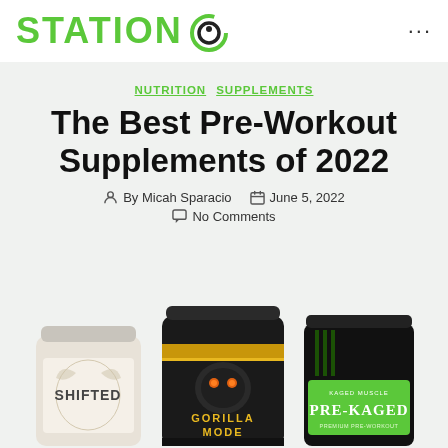STATION 6
NUTRITION  SUPPLEMENTS
The Best Pre-Workout Supplements of 2022
By Micah Sparacio  June 5, 2022
No Comments
[Figure (photo): Three pre-workout supplement containers: SHIFTED (white/silver container), GORILLA MODE (black container with gorilla logo), and PRE-KAGED by Kaged Muscle (black container with green label)]